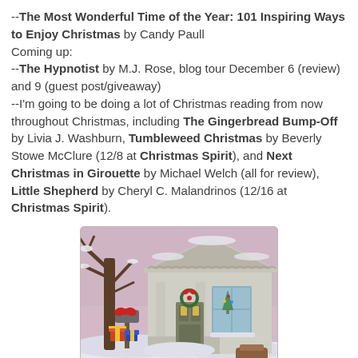--The Most Wonderful Time of the Year: 101 Inspiring Ways to Enjoy Christmas by Candy Paull
Coming up:
--The Hypnotist by M.J. Rose, blog tour December 6 (review) and 9 (guest post/giveaway)
--I'm going to be doing a lot of Christmas reading from now throughout Christmas, including The Gingerbread Bump-Off by Livia J. Washburn, Tumbleweed Christmas by Beverly Stowe McClure (12/8 at Christmas Spirit), and Next Christmas in Girouette by Michael Welch (all for review), Little Shepherd by Cheryl C. Malandrinos (12/16 at Christmas Spirit).
[Figure (illustration): A painted illustration of a Victorian-style house in winter, with snow on the ground, bare trees, a decorated mailbox with a red bow, wrapped gifts, and Christmas decorations on the front porch.]